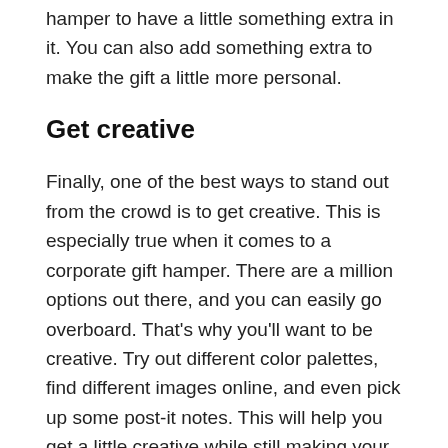hamper to have a little something extra in it. You can also add something extra to make the gift a little more personal.
Get creative
Finally, one of the best ways to stand out from the crowd is to get creative. This is especially true when it comes to a corporate gift hamper. There are a million options out there, and you can easily go overboard. That’s why you’ll want to be creative. Try out different color palettes, find different images online, and even pick up some post-it notes. This will help you get a little creative while still making your corporate gift baskets an easy task.
Conclusion